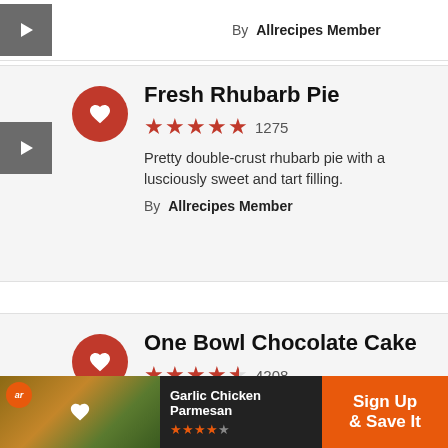By Allrecipes Member
[Figure (illustration): Orange heart/favorite button circle icon for Fresh Rhubarb Pie]
Fresh Rhubarb Pie
★★★★★ 1275
Pretty double-crust rhubarb pie with a lusciously sweet and tart filling.
By Allrecipes Member
[Figure (illustration): Orange heart/favorite button circle icon for One Bowl Chocolate Cake]
One Bowl Chocolate Cake
★★★★½ 4208
This simple one bowl chocolate cake
[Figure (screenshot): Ad banner for Garlic Chicken Parmesan with Sign Up & Save It CTA]